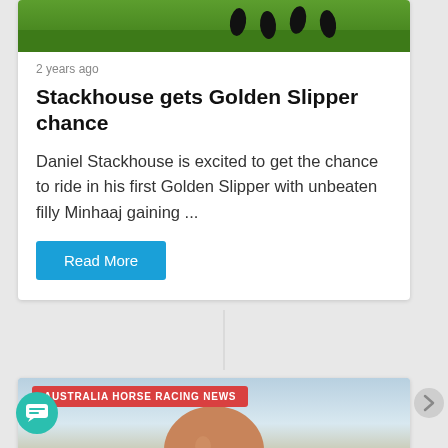[Figure (photo): Partial view of horses running on green grass field, showing horse hooves and legs]
2 years ago
Stackhouse gets Golden Slipper chance
Daniel Stackhouse is excited to get the chance to ride in his first Golden Slipper with unbeaten filly Minhaaj gaining ...
Read More
[Figure (photo): Australia Horse Racing News banner with photo of a bald smiling man, partial view at bottom of page]